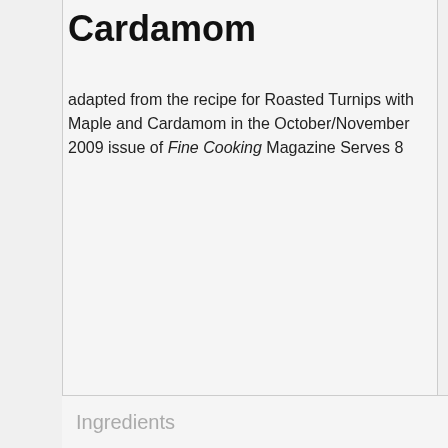Cardamom
adapted from the recipe for Roasted Turnips with Maple and Cardamom in the October/November 2009 issue of Fine Cooking Magazine Serves 8
Ingredients